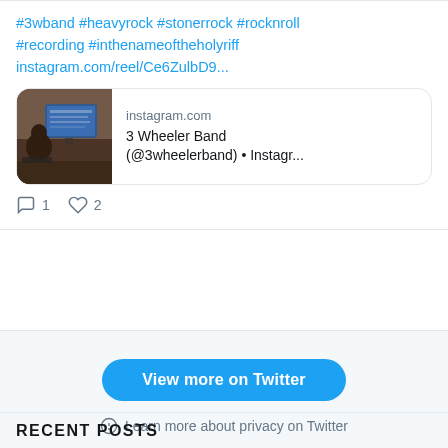#3wband #heavyrock #stonerrock #rocknroll #recording #inthenameoftheholyriff instagram.com/reel/Ce6ZulbD9...
[Figure (screenshot): Instagram link preview card showing a photo of a person at a recording studio with a computer monitor, with text 'instagram.com' and '3 Wheeler Band (@3wheelerband) • Instagr...']
1 reply, 2 likes
View more on Twitter
Learn more about privacy on Twitter
RECENT POSTS